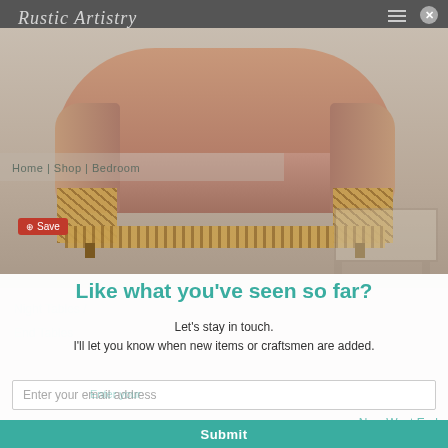[Figure (screenshot): Website screenshot showing a rustic furniture website (Rustic Artistry) with a brown leather loveseat/sofa with carved wooden accents. Navigation includes Home, Shop, Bedroom links. A Pinterest Save button is visible.]
Like what you've seen so far?
Let's stay in touch.
I'll let you know when new items or craftsmen are added.
Enter your email address
Submit